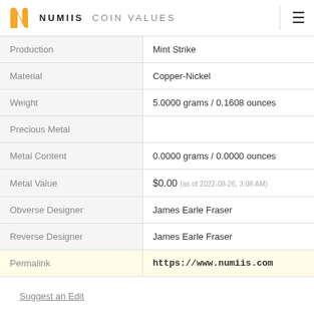NUMIIS COIN VALUES
| Field | Value |
| --- | --- |
| Production | Mint Strike |
| Material | Copper-Nickel |
| Weight | 5.0000 grams / 0.1608 ounces |
| Precious Metal |  |
| Metal Content | 0.0000 grams / 0.0000 ounces |
| Metal Value | $0.00 (as of 2022-08-26, 3:08 AM) |
| Obverse Designer | James Earle Fraser |
| Reverse Designer | James Earle Fraser |
| Permalink | https://www.numiis.com |
Suggest an Edit